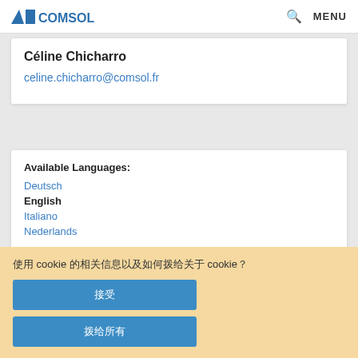COMSOL | MENU
Céline Chicharro
celine.chicharro@comsol.fr
Available Languages: Deutsch English Italiano Nederlands
使用 cookie 的相关信息以及如何拒绝 cookie？
接受
拒绝所有